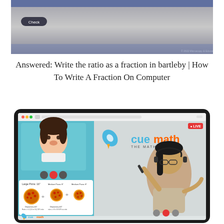[Figure (screenshot): Top screenshot of a quiz/check interface with a dark background and a Check button]
Answered: Write the ratio as a fraction in bartleby | How To Write A Fraction On Computer
[Figure (screenshot): Screenshot of Cuemath online learning platform showing a live math lesson with a child student, a teacher with headset, pizza fraction problem, and Cuemath branding with rocket logo]